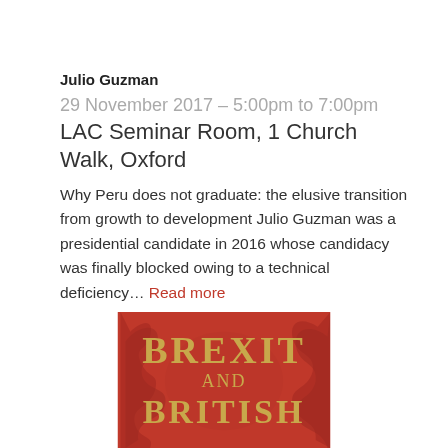Julio Guzman
29 November 2017 – 5:00pm to 7:00pm
LAC Seminar Room, 1 Church Walk, Oxford
Why Peru does not graduate: the elusive transition from growth to development Julio Guzman was a presidential candidate in 2016 whose candidacy was finally blocked owing to a technical deficiency… Read more
[Figure (photo): Book cover showing 'BREXIT AND BRITISH' text in gold lettering on a red background with dragon motifs]